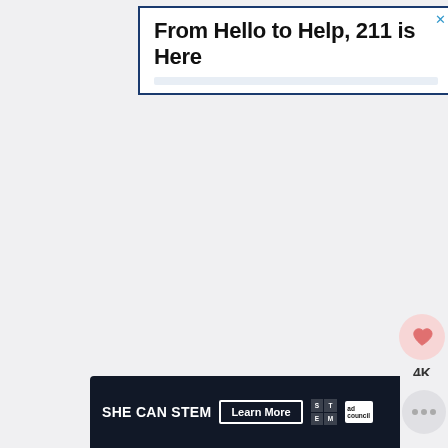[Figure (screenshot): Advertisement banner with dark blue border reading 'From Hello to Help, 211 is Here' with an X close button in the top right corner]
[Figure (infographic): Social sidebar with a pink heart icon showing '4K' count and a share icon below]
[Figure (screenshot): What's Next panel showing a thumbnail of Pumpkin Pie Crisp with the label 'WHAT'S NEXT →']
[Figure (screenshot): Bottom advertisement banner with dark background reading 'SHE CAN STEM' with 'Learn More' button and STEM/Ad Council logos]